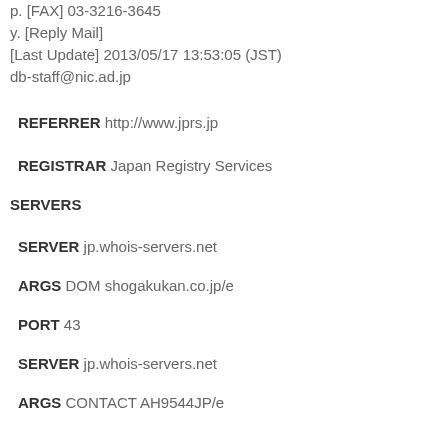p. [FAX] 03-3216-3645
y. [Reply Mail]
[Last Update] 2013/05/17 13:53:05 (JST)
db-staff@nic.ad.jp
REFERRER http://www.jprs.jp
REGISTRAR Japan Registry Services
SERVERS
SERVER jp.whois-servers.net
ARGS DOM shogakukan.co.jp/e
PORT 43
SERVER jp.whois-servers.net
ARGS CONTACT AH9544JP/e